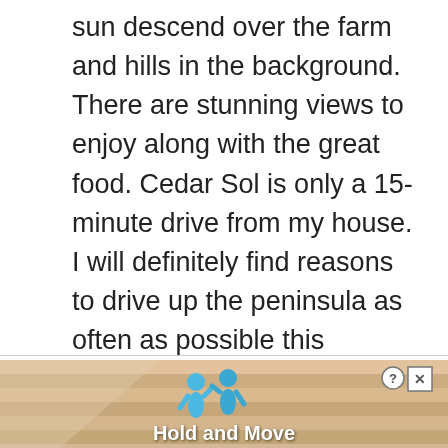sun descend over the farm and hills in the background. There are stunning views to enjoy along with the great food. Cedar Sol is only a 15-minute drive from my house. I will definitely find reasons to drive up the peninsula as often as possible this summer to satisfy my taco cravings.
[Figure (screenshot): Advertisement banner for 'Hold and Move' app/game with sandy wooden plank background, two blue cartoon figures, a question mark button and close (X) button in top right corner, and white bold text 'Hold and Move' at bottom center.]